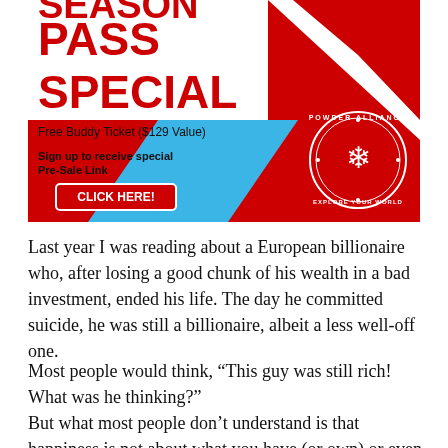[Figure (infographic): Season Pass Special advertisement banner with red background, mountain graphic, blue diagonal stripe, Powder Alliance badge/logo, 'Free Buddy Ticket ($129 Value)' text, 'Sign up to receive special Pre-Sale Link' text, and 'CLICK HERE!' button]
Last year I was reading about a European billionaire who, after losing a good chunk of his wealth in a bad investment, ended his life. The day he committed suicide, he was still a billionaire, albeit a less well-off one.
Most people would think, “This guy was still rich! What was he thinking?”
But what most people don’t understand is that happiness is not about what you have (or own) or even wherever it is you stand right now. It’s about where you feel you’re headed, about